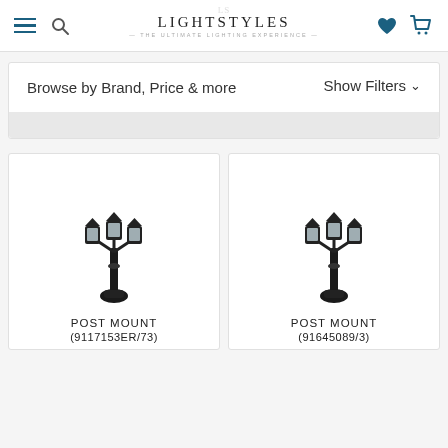LightStyles — The Ultimate Lighting Experience
Browse by Brand, Price & more
Show Filters
[Figure (photo): Outdoor post mount lamp with three lanterns on a dark pole]
POST MOUNT (9117153ER/73)
[Figure (photo): Outdoor post mount lamp with three lanterns on a dark pole]
POST MOUNT (91645089/3)